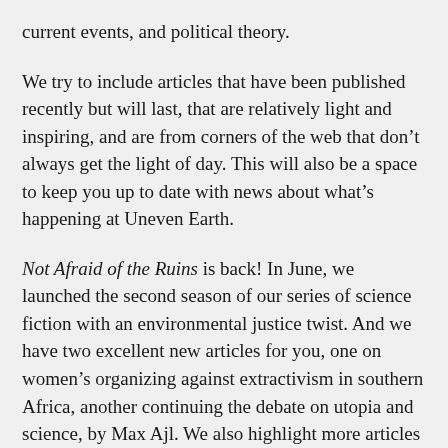current events, and political theory.
We try to include articles that have been published recently but will last, that are relatively light and inspiring, and are from corners of the web that don’t always get the light of day. This will also be a space to keep you up to date with news about what’s happening at Uneven Earth.
Not Afraid of the Ruins is back! In June, we launched the second season of our series of science fiction with an environmental justice twist. And we have two excellent new articles for you, one on women’s organizing against extractivism in southern Africa, another continuing the debate on utopia and science, by Max Ajl. We also highlight more articles criticizing Fully Automated Luxury Communism, and feature a discussion on the merits of and